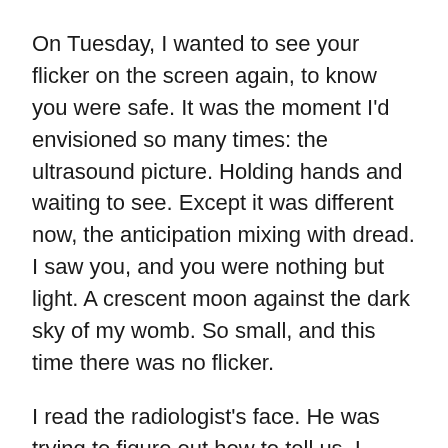On Tuesday, I wanted to see your flicker on the screen again, to know you were safe. It was the moment I'd envisioned so many times: the ultrasound picture. Holding hands and waiting to see. Except it was different now, the anticipation mixing with dread. I saw you, and you were nothing but light. A crescent moon against the dark sky of my womb. So small, and this time there was no flicker.
I read the radiologist's face. He was trying to figure out how to tell us. I know what it's like to tell someone that someone they love has died, so I helped him out.